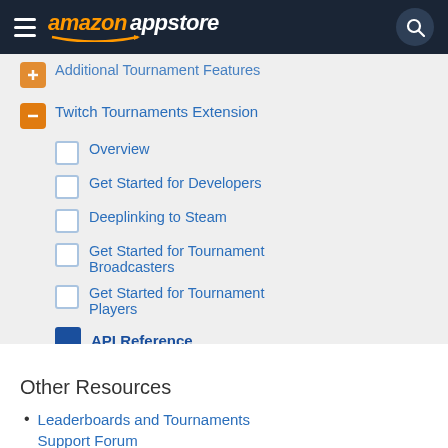amazon appstore
Additional Tournament Features
Twitch Tournaments Extension
Overview
Get Started for Developers
Deeplinking to Steam
Get Started for Tournament Broadcasters
Get Started for Tournament Players
API Reference
API references
Resources
Other Resources
Leaderboards and Tournaments Support Forum